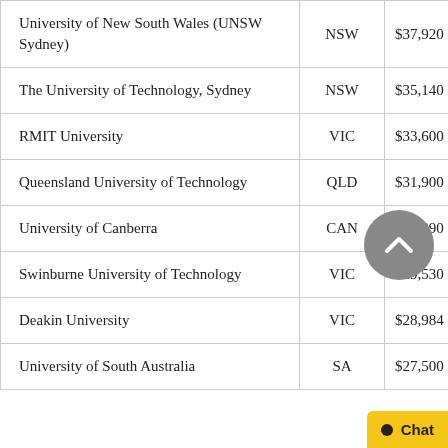| University | State | Fee |
| --- | --- | --- |
| University of New South Wales (UNSW Sydney) | NSW | $37,920 |
| The University of Technology, Sydney | NSW | $35,140 |
| RMIT University | VIC | $33,600 |
| Queensland University of Technology | QLD | $31,900 |
| University of Canberra | CAN | $29,890 |
| Swinburne University of Technology | VIC | $29,530 |
| Deakin University | VIC | $28,984 |
| University of South Australia | SA | $27,500 |